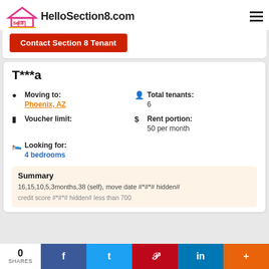[Figure (logo): HelloSection8.com logo with house icon in pink/red and Sec8 text]
Contact Section 8 Tenant
T***a
Moving to: Phoenix, AZ
Total tenants: 6
Voucher limit:
Rent portion: 50 per month
Looking for: 4 bedrooms
Summary
16,15,10,5,3months,38 (self), move date #*#*# hidden#
credit score #*#*# hidden# less than 700
0 SHARES  f  t  p  in  +